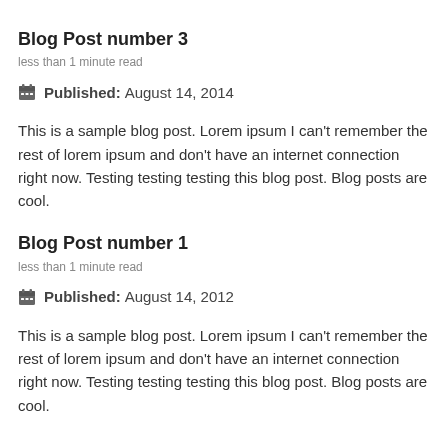Blog Post number 3
less than 1 minute read
Published: August 14, 2014
This is a sample blog post. Lorem ipsum I can’t remember the rest of lorem ipsum and don’t have an internet connection right now. Testing testing testing this blog post. Blog posts are cool.
Blog Post number 1
less than 1 minute read
Published: August 14, 2012
This is a sample blog post. Lorem ipsum I can’t remember the rest of lorem ipsum and don’t have an internet connection right now. Testing testing testing this blog post. Blog posts are cool.